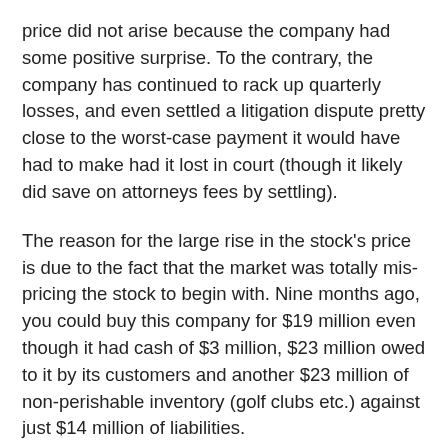price did not arise because the company had some positive surprise. To the contrary, the company has continued to rack up quarterly losses, and even settled a litigation dispute pretty close to the worst-case payment it would have had to make had it lost in court (though it likely did save on attorneys fees by settling).
The reason for the large rise in the stock's price is due to the fact that the market was totally mis-pricing the stock to begin with. Nine months ago, you could buy this company for $19 million even though it had cash of $3 million, $23 million owed to it by its customers and another $23 million of non-perishable inventory (golf clubs etc.) against just $14 million of liabilities.
In the last few months, the company has had to sell some of that inventory at a loss, and has agreed to pay $5 million to settle a lawsuit. As such, its net current assets reduced from about $35 million to $29 million. Despite this, the stock price has risen dramatically, as the company's market cap has recently spent some time trading just under $30 million. The massive margin of safety on this stock 9 months ago has